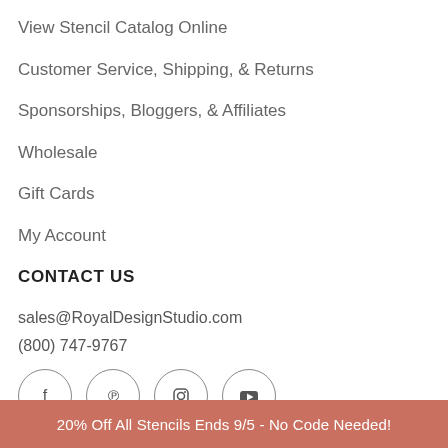View Stencil Catalog Online
Customer Service, Shipping, & Returns
Sponsorships, Bloggers, & Affiliates
Wholesale
Gift Cards
My Account
CONTACT US
sales@RoyalDesignStudio.com
(800) 747-9767
[Figure (other): Social media icons: Facebook, Pinterest, Instagram, YouTube — each in a circle outline]
20% Off All Stencils Ends 9/5 - No Code Needed!